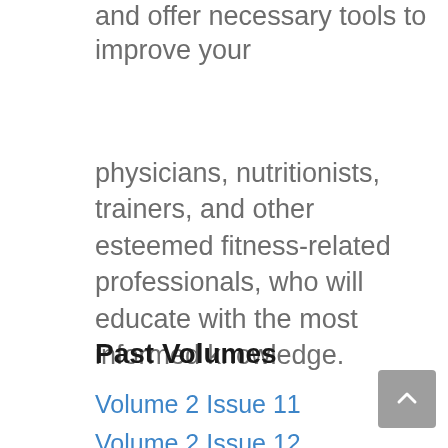and offer necessary tools to improve your
physicians, nutritionists, trainers, and other esteemed fitness-related professionals, who will educate with the most informed knowledge.
Past Volumes
Volume 2 Issue 11
Volume 2 Issue 12
Volume 2, Issue 8
Volume 3 Issue 4
Volume 3 Issue 7